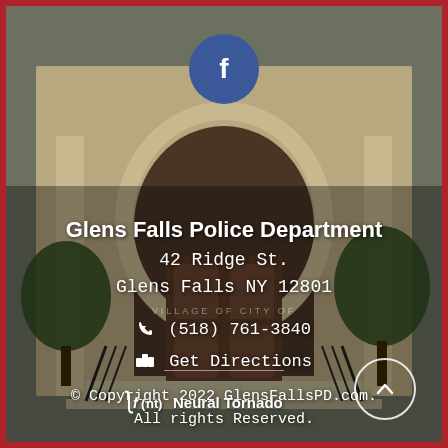[Figure (photo): Exterior photo of Glens Falls Police Department building — a historic brick building with an arched entrance doorway, ornate stonework, steps with iron railings, and surrounding trees. Used as background for the contact information overlay.]
[Figure (logo): Facebook 'f' logo in a blue circle, centered near the top of the page]
Glens Falls Police Department
42 Ridge St.
Glens Falls NY 12801
(518) 761-3840
Get Directions
© Copyright 2022 GlensFallsPD.com. All rights Reserved.
[Figure (logo): Neural Tornado logo — stylized integral/function symbol with 'f(nt)' and text 'Neural Tornado' in white]
[Figure (other): Scroll-to-top button — white circle outline with an upward arrow inside, positioned bottom right]